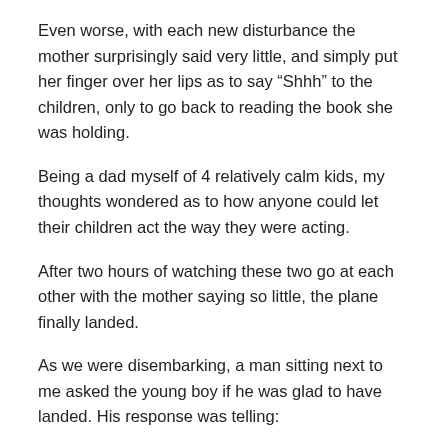Even worse, with each new disturbance the mother surprisingly said very little, and simply put her finger over her lips as to say “Shhh” to the children, only to go back to reading the book she was holding.
Being a dad myself of 4 relatively calm kids, my thoughts wondered as to how anyone could let their children act the way they were acting.
After two hours of watching these two go at each other with the mother saying so little, the plane finally landed.
As we were disembarking, a man sitting next to me asked the young boy if he was glad to have landed. His response was telling:
“Yes. This is our second flight today. On the first flight, my mommy was crying because we left Daddy